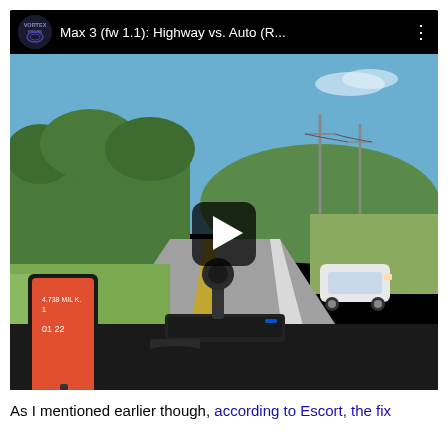[Figure (screenshot): YouTube-style video thumbnail showing a dashcam view from inside a car on a rural highway. A smartphone on a mount is visible on the left, and a radar detector is on the dashboard center. A white car is visible in the right lane. Trees and power lines line the road. The video has a black top bar with the Vortex Radar logo and title 'Max 3 (fw 1.1): Highway vs. Auto (R...' and a three-dot menu icon. A play button is overlaid in the center of the thumbnail.]
As I mentioned earlier though, according to Escort, the fix